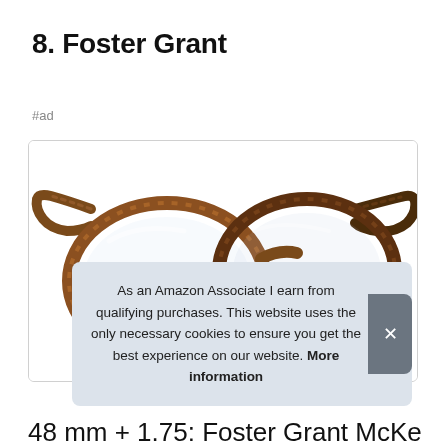8. Foster Grant
#ad
[Figure (photo): A pair of round brown striped reading glasses (Foster Grant McKay style) shown at an angle on a white background, inside a bordered card.]
As an Amazon Associate I earn from qualifying purchases. This website uses the only necessary cookies to ensure you get the best experience on our website. More information
48 mm + 1.75: Foster Grant McKe...